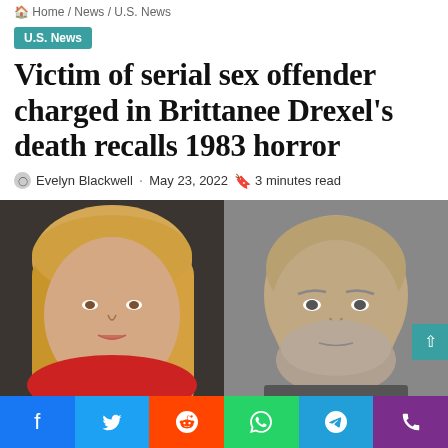Home / News / U.S. News
U.S. News
Victim of serial sex offender charged in Brittanee Drexel's death recalls 1983 horror
Evelyn Blackwell · May 23, 2022 🔖 3 minutes read
[Figure (photo): Two side-by-side photos: left shows a blonde woman in a red top, right shows a bald older man with a grey beard (mug shot style)]